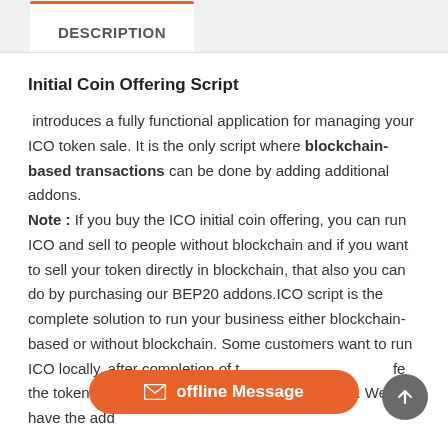DESCRIPTION
Initial Coin Offering Script
introduces a fully functional application for managing your ICO token sale. It is the only script where blockchain-based transactions can be done by adding additional addons. Note : If you buy the ICO initial coin offering, you can run ICO and sell to people without blockchain and if you want to sell your token directly in blockchain, that also you can do by purchasing our BEP20 addons.ICO script is the complete solution to run your business either blockchain-based or without blockchain. Some customers want to run ICO locally, after completion of the token into ERC20/ BEP20 based blockchain. We have the addons integration inside the system.